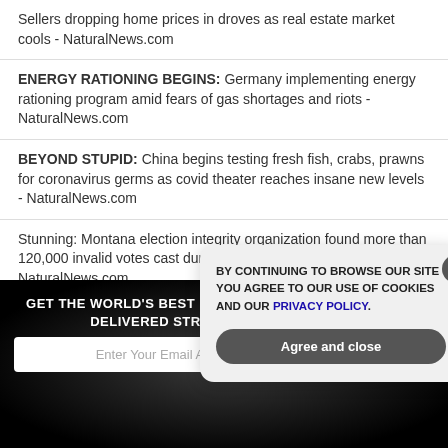Sellers dropping home prices in droves as real estate market cools - NaturalNews.com
ENERGY RATIONING BEGINS: Germany implementing energy rationing program amid fears of gas shortages and riots - NaturalNews.com
BEYOND STUPID: China begins testing fresh fish, crabs, prawns for coronavirus germs as covid theater reaches insane new levels - NaturalNews.com
Stunning: Montana election integrity organization found more than 120,000 invalid votes cast during 2020 election - NaturalNews.com
It’s all RIGGED beyond imagination: Deep state pushing for “blood in the
GET THE WORLD’S BEST NATURAL HEALTH NEWSLETTER DELIVERED STRAIGHT TO YOUR INBOX
Enter Your Email Address
SUBSCRIBE
BY CONTINUING TO BROWSE OUR SITE YOU AGREE TO OUR USE OF COOKIES AND OUR PRIVACY POLICY.
Agree and close